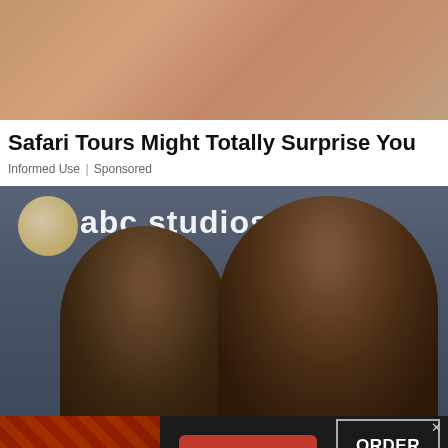[Figure (photo): Close-up photo of people sunbathing outdoors, showing legs/torsos on what appears to be lounge chairs]
Safari Tours Might Totally Surprise You
Informed Use | Sponsored
[Figure (photo): Two women at what appears to be a red carpet or media event for 'abc studios'. One woman has braided hair up in a large bun style, the other has cornrows/braids.]
[Figure (screenshot): Seamless food delivery advertisement banner with pizza image on left, seamless logo in red button center, and ORDER NOW button on right with X close button]